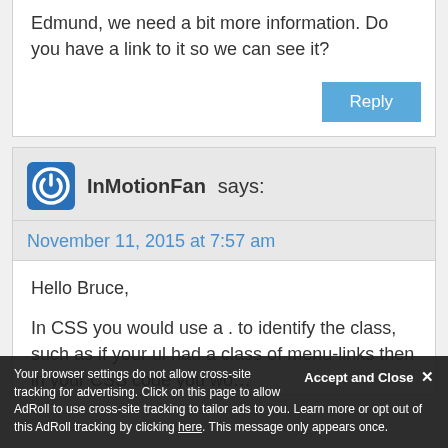Edmund, we need a bit more information. Do you have a link to it so we can see it?
Reply
InMotionFan says:
November 11, 2015 at 7:57 am
Hello Bruce,

In CSS you would use a . to identify the class, such as if your ul had a class of menu-links then in your CSS code you wo...
Accept and Close
Your browser settings do not allow cross-site tracking for advertising. Click on this page to allow AdRoll to use cross-site tracking to tailor ads to you. Learn more or opt out of this AdRoll tracking by clicking here. This message only appears once.